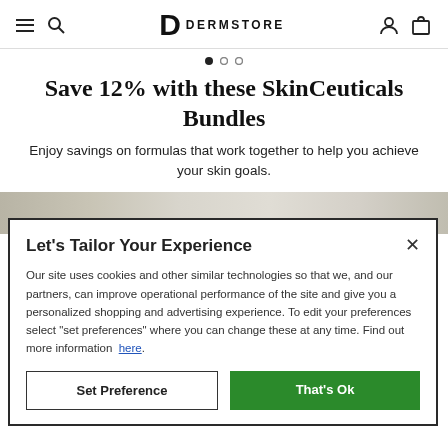DERMSTORE navigation bar with hamburger menu, search, logo, user and cart icons
[Figure (other): Carousel pagination dots: one filled, two empty]
Save 12% with these SkinCeuticals Bundles
Enjoy savings on formulas that work together to help you achieve your skin goals.
[Figure (photo): Partial product image strip with beige/gray gradient background]
Let's Tailor Your Experience
Our site uses cookies and other similar technologies so that we, and our partners, can improve operational performance of the site and give you a personalized shopping and advertising experience. To edit your preferences select "set preferences" where you can change these at any time. Find out more information here.
Set Preference | That's Ok